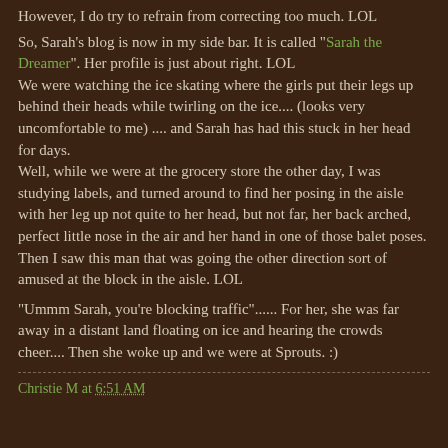However, I do try to refrain from correcting too much. LOL
So, Sarah's blog is now in my side bar. It is called "Sarah the Dreamer". Her profile is just about right. LOL
We were watching the ice skating where the girls put their legs up behind their heads while twirling on the ice.... (looks very uncomfortable to me) .... and Sarah has had this stuck in her head for days.
Well, while we were at the grocery store the other day, I was studying labels, and turned around to find her posing in the aisle with her leg up not quite to her head, but not far, her back arched, perfect little nose in the air and her hand in one of those balet poses. Then I saw this man that was going the other direction sort of amused at the block in the aisle. LOL
"Ummm Sarah, you're blocking traffic"...... For her, she was far away in a distant land floating on ice and hearing the crowds cheer.... Then she woke up and we were at Sprouts. :)
Christie M at 6:51 AM